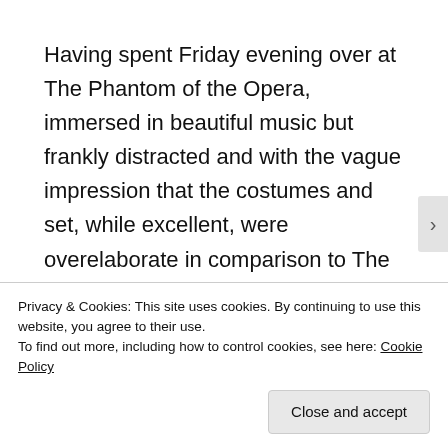Having spent Friday evening over at The Phantom of the Opera, immersed in beautiful music but frankly distracted and with the vague impression that the costumes and set, while excellent, were overelaborate in comparison to The Crucible, Saturday Aug. 30 now brought me home to where I really most wanted to be, mired in angst and oppression. How odd to thirst for these emotions. Also in the mix was my overwhelming anticipation to
Privacy & Cookies: This site uses cookies. By continuing to use this website, you agree to their use.
To find out more, including how to control cookies, see here: Cookie Policy